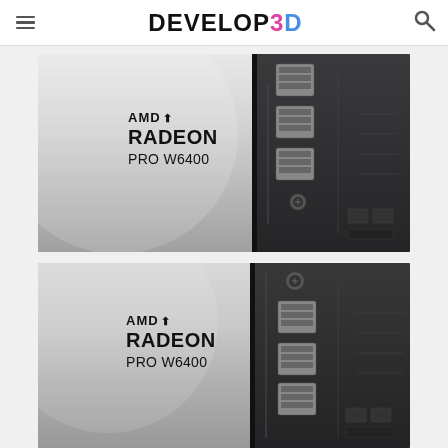DEVELOP3D
[Figure (photo): AMD Radeon PRO W6400 graphics card product photo showing the card from above with AMD RADEON PRO W6400 branding on the left side and the card's bracket/connectors on the right. Metallic silver/grey card body.]
[Figure (photo): Second AMD Radeon PRO W6400 graphics card product photo, cropped closer showing bottom portion of the card with AMD RADEON PRO W6400 branding and different angle of the connectors/bracket.]